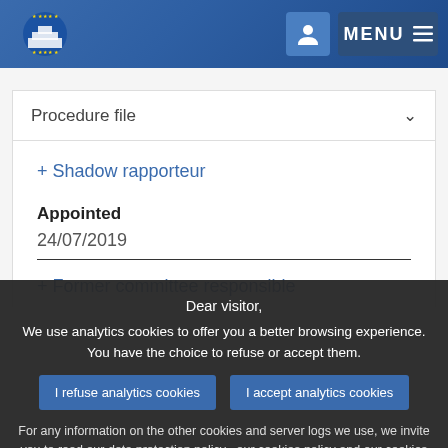European Parliament — MENU
Procedure file
+ Shadow rapporteur
Appointed
24/07/2019
+ Former committee responsible
Dear visitor,
We use analytics cookies to offer you a better browsing experience. You have the choice to refuse or accept them.
I refuse analytics cookies | I accept analytics cookies
For any information on the other cookies and server logs we use, we invite you to read our data protection policy , our cookies policy and our cookies inventory.